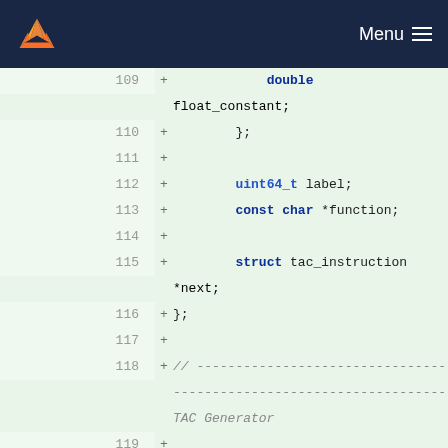Menu (navigation bar with GitLab logo)
109 + double float_constant;
110 + };
111 +
112 + uint64_t label;
113 + const char *function;
114 +
115 + struct tac_instruction *next;
116 + };
117 +
118 + // ------------------------------------------ TAC Generator
119 +
120 + struct tac_variable gen_variable(enum tac_variable_type type)
121 + {
122 + static uint64_t